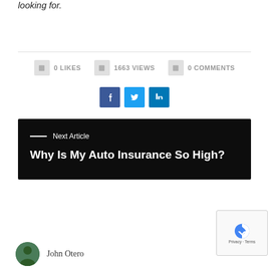looking for.
0 LIKES   1663 VIEWS   0 COMMENTS
[Figure (infographic): Social share buttons: Facebook, Twitter, LinkedIn]
Why Is My Auto Insurance So High?
Next Article
John Otero